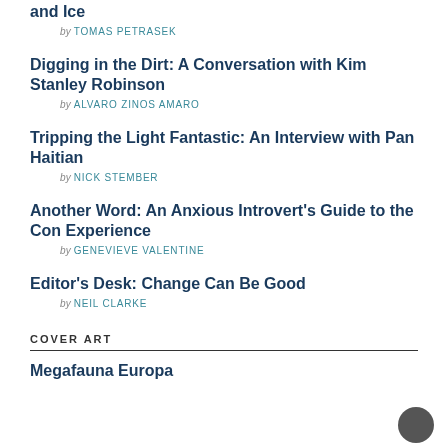and Ice
by TOMAS PETRASEK
Digging in the Dirt: A Conversation with Kim Stanley Robinson
by ALVARO ZINOS AMARO
Tripping the Light Fantastic: An Interview with Pan Haitian
by NICK STEMBER
Another Word: An Anxious Introvert's Guide to the Con Experience
by GENEVIEVE VALENTINE
Editor's Desk: Change Can Be Good
by NEIL CLARKE
COVER ART
Megafauna Europa